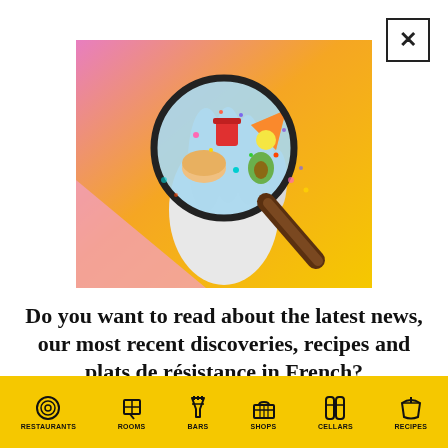[Figure (illustration): Colorful illustration of a white gloved hand holding a magnifying glass with food items visible inside the lens, on a pink/orange/yellow gradient background]
Do you want to read about the latest news, our most recent discoveries, recipes and plats de résistance in French?
RESTAURANTS  ROOMS  BARS  SHOPS  CELLARS  RECIPES